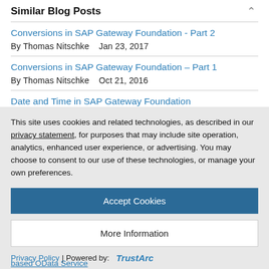Similar Blog Posts
Conversions in SAP Gateway Foundation - Part 2
By Thomas Nitschke   Jan 23, 2017
Conversions in SAP Gateway Foundation – Part 1
By Thomas Nitschke   Oct 21, 2016
Date and Time in SAP Gateway Foundation
By Thomas Nitschke   Jan 25, 2017
This site uses cookies and related technologies, as described in our privacy statement, for purposes that may include site operation, analytics, enhanced user experience, or advertising. You may choose to consent to our use of these technologies, or manage your own preferences.
Accept Cookies
More Information
Privacy Policy | Powered by:  TrustArc
based OData Service